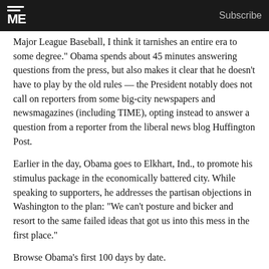ME | Subscribe
Major League Baseball, I think it tarnishes an entire era to some degree." Obama spends about 45 minutes answering questions from the press, but also makes it clear that he doesn't have to play by the old rules — the President notably does not call on reporters from some big-city newspapers and newsmagazines (including TIME), opting instead to answer a question from a reporter from the liberal news blog Huffington Post.
Earlier in the day, Obama goes to Elkhart, Ind., to promote his stimulus package in the economically battered city. While speaking to supporters, he addresses the partisan objections in Washington to the plan: "We can't posture and bicker and resort to the same failed ideas that got us into this mess in the first place."
Browse Obama's first 100 days by date.
NEXT Finding Some Republican Relief
Email   Print   + Share